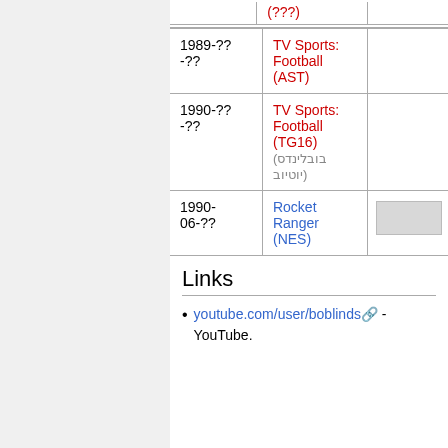| Year | Title |  |
| --- | --- | --- |
|  | (???) |  |
| 1989-??-?? | TV Sports: Football (AST) |  |
| 1990-??-?? | TV Sports: Football (TG16) (xxxxxxxxxx xxxxx) |  |
| 1990-06-?? | Rocket Ranger (NES) | [gray box] |
Links
youtube.com/user/boblinds - YouTube.